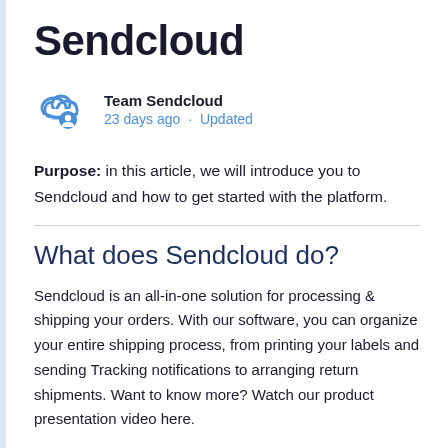Sendcloud
Team Sendcloud
23 days ago · Updated
Purpose: in this article, we will introduce you to Sendcloud and how to get started with the platform.
What does Sendcloud do?
Sendcloud is an all-in-one solution for processing & shipping your orders. With our software, you can organize your entire shipping process, from printing your labels and sending Tracking notifications to arranging return shipments. Want to know more? Watch our product presentation video here.